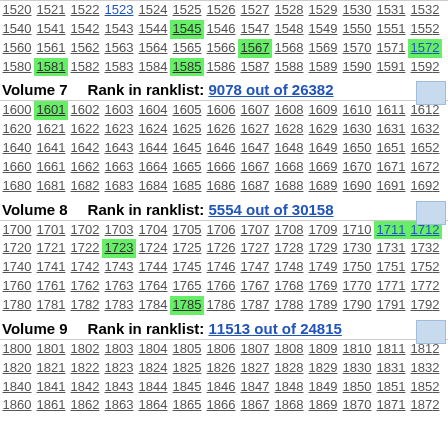1520 1521 1522 1523 1524 1525 1526 1527 1528 1529 1530 1531 1532
1540 1541 1542 1543 1544 1545 1546 1547 1548 1549 1550 1551 1552
1560 1561 1562 1563 1564 1565 1566 1567 1568 1569 1570 1571 1572
1580 1581 1582 1583 1584 1585 1586 1587 1588 1589 1590 1591 1592
Volume 7    Rank in ranklist: 9078 out of 26382
1600 1601 1602 1603 1604 1605 1606 1607 1608 1609 1610 1611 1612
1620 1621 1622 1623 1624 1625 1626 1627 1628 1629 1630 1631 1632
1640 1641 1642 1643 1644 1645 1646 1647 1648 1649 1650 1651 1652
1660 1661 1662 1663 1664 1665 1666 1667 1668 1669 1670 1671 1672
1680 1681 1682 1683 1684 1685 1686 1687 1688 1689 1690 1691 1692
Volume 8    Rank in ranklist: 5554 out of 30158
1700 1701 1702 1703 1704 1705 1706 1707 1708 1709 1710 1711 1712
1720 1721 1722 1723 1724 1725 1726 1727 1728 1729 1730 1731 1732
1740 1741 1742 1743 1744 1745 1746 1747 1748 1749 1750 1751 1752
1760 1761 1762 1763 1764 1765 1766 1767 1768 1769 1770 1771 1772
1780 1781 1782 1783 1784 1785 1786 1787 1788 1789 1790 1791 1792
Volume 9    Rank in ranklist: 11513 out of 24815
1800 1801 1802 1803 1804 1805 1806 1807 1808 1809 1810 1811 1812
1820 1821 1822 1823 1824 1825 1826 1827 1828 1829 1830 1831 1832
1840 1841 1842 1843 1844 1845 1846 1847 1848 1849 1850 1851 1852
1860 1861 1862 1863 1864 1865 1866 1867 1868 1869 1870 1871 1872